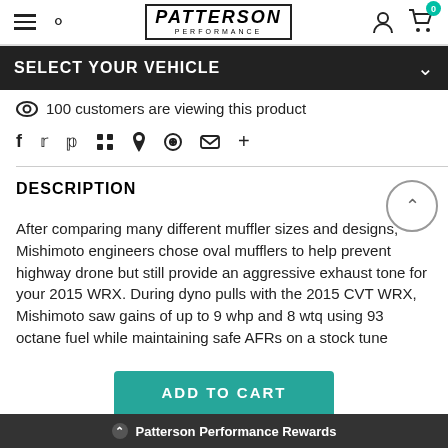[Figure (screenshot): Patterson Performance e-commerce website header with hamburger menu, search icon, Patterson Performance logo, user icon, and cart icon with badge showing 0]
SELECT YOUR VEHICLE
100 customers are viewing this product
[Figure (infographic): Social sharing icons: Facebook, Twitter, Pinterest, Grid/apps, Bookmark, Heart, Email, Plus]
DESCRIPTION
After comparing many different muffler sizes and designs, Mishimoto engineers chose oval mufflers to help prevent highway drone but still provide an aggressive exhaust tone for your 2015 WRX. During dyno pulls with the 2015 CVT WRX, Mishimoto saw gains of up to 9 whp and 8 wtq using 93 octane fuel while maintaining safe AFRs on a stock tune
ADD TO CART
Patterson Performance Rewards